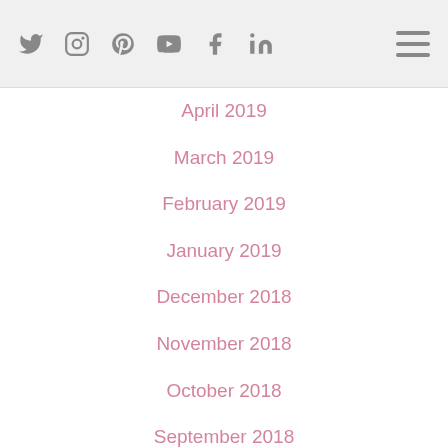Social media icons: Twitter, Instagram, Pinterest, YouTube, Facebook, LinkedIn; hamburger menu
April 2019
March 2019
February 2019
January 2019
December 2018
November 2018
October 2018
September 2018
August 2018
July 2018
June 2018
May 2018
April 2018